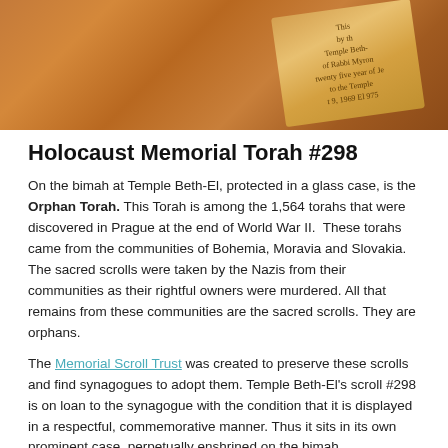[Figure (photo): Close-up photo of what appears to be a wooden Torah scroll or case with a golden/brass plaque, showing partial text about Temple Beth-El, Rabbi Myron, and twenty five years of service.]
Holocaust Memorial Torah #298
On the bimah at Temple Beth-El, protected in a glass case, is the Orphan Torah. This Torah is among the 1,564 torahs that were discovered in Prague at the end of World War II. These torahs came from the communities of Bohemia, Moravia and Slovakia. The sacred scrolls were taken by the Nazis from their communities as their rightful owners were murdered. All that remains from these communities are the sacred scrolls. They are orphans.
The Memorial Scroll Trust was created to preserve these scrolls and find synagogues to adopt them. Temple Beth-El's scroll #298 is on loan to the synagogue with the condition that it is displayed in a respectful, commemorative manner. Thus it sits in its own prominent case, perpetually enshrined on the bimah.